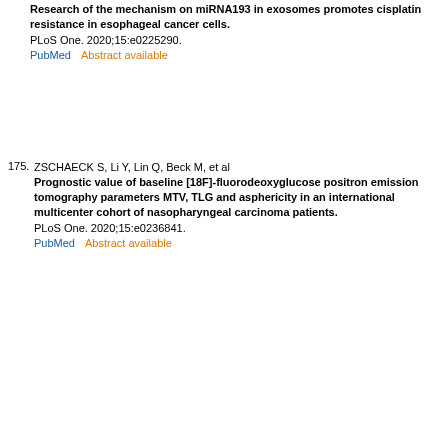Research of the mechanism on miRNA193 in exosomes promotes cisplatin resistance in esophageal cancer cells. PLoS One. 2020;15:e0225290. PubMed    Abstract available
175. ZSCHAECK S, Li Y, Lin Q, Beck M, et al Prognostic value of baseline [18F]-fluorodeoxyglucose positron emission tomography parameters MTV, TLG and asphericity in an international multicenter cohort of nasopharyngeal carcinoma patients. PLoS One. 2020;15:e0236841. PubMed    Abstract available
176. WU ZH, Fang M, Zhou Y Comprehensive analysis of the expression and prognosis for CDCAs in head and neck squamous cell carcinoma. PLoS One. 2020;15:e0236678. PubMed    Abstract available
177. GARMAN KS, Ajayi TA, Boutte HJ Jr, Chiu ST, et al Prior tonsillectomy is associated with an increased risk of esophageal adenocarcinoma. PLoS One. 2020;15:e0235906. PubMed    Abstract available
178. KALISZEWSKI K, Diakowska D, Wojtczak B, Rudnicki J, et al